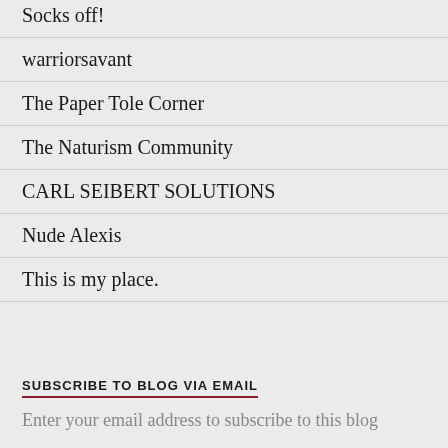Socks off!
warriorsavant
The Paper Tole Corner
The Naturism Community
CARL SEIBERT SOLUTIONS
Nude Alexis
This is my place.
SUBSCRIBE TO BLOG VIA EMAIL
Enter your email address to subscribe to this blog